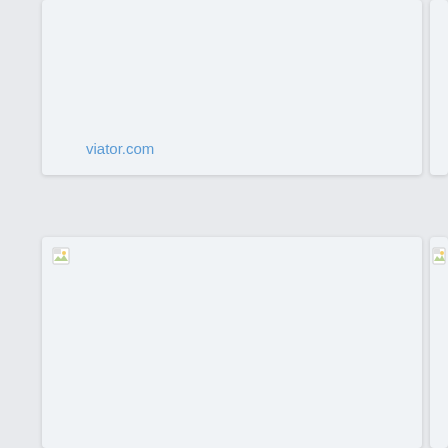[Figure (screenshot): Top card showing viator.com link text on a light gray background]
viator.com
[Figure (screenshot): Large card below with a broken image icon in the top left corner on a light gray background]